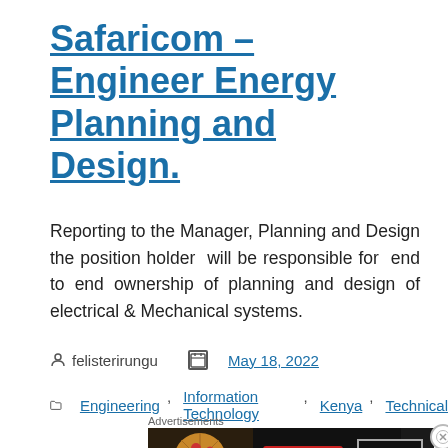Safaricom – Engineer Energy Planning and Design.
Reporting to the Manager, Planning and Design the position holder  will be responsible for  end to end ownership of planning and design of electrical & Mechanical systems.
felisterirungu    May 18, 2022
Engineering, Information Technology, Kenya, Technical
Advertisements